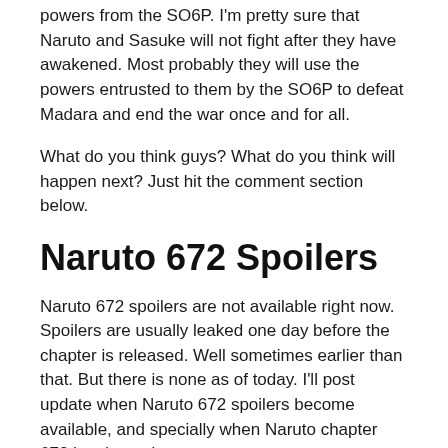powers from the SO6P. I'm pretty sure that Naruto and Sasuke will not fight after they have awakened. Most probably they will use the powers entrusted to them by the SO6P to defeat Madara and end the war once and for all.
What do you think guys? What do you think will happen next? Just hit the comment section below.
Naruto 672 Spoilers
Naruto 672 spoilers are not available right now. Spoilers are usually leaked one day before the chapter is released. Well sometimes earlier than that. But there is none as of today. I'll post update when Naruto 672 spoilers become available, and specially when Naruto chapter 672 is released.
UPDATE: Early Naruto 672 spoilers is out. We see Gai unleashing the Night Moth. But funny why does it look like a dragon just came out and not a Moth?